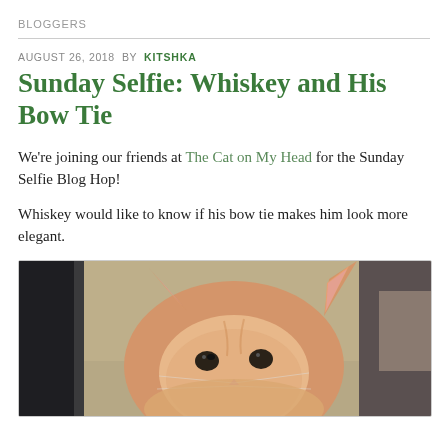BLOGGERS
AUGUST 26, 2018 BY KITSHKA
Sunday Selfie: Whiskey and His Bow Tie
We're joining our friends at The Cat on My Head for the Sunday Selfie Blog Hop!
Whiskey would like to know if his bow tie makes him look more elegant.
[Figure (photo): Close-up photo of an orange tabby cat looking upward at the camera, positioned near a computer monitor in a home or office setting.]